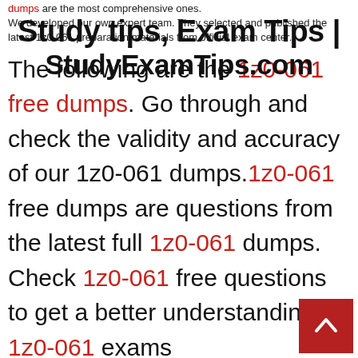Study tips, Exam Tips | StudyExamTips.com
We developed our own expert team. They selected and published the latest 1z0-061 preparation materials from official exam center.
The following are the 1z0-061 free dumps. Go through and check the validity and accuracy of our 1z0-061 dumps.1z0-061 free dumps are questions from the latest full 1z0-061 dumps. Check 1z0-061 free questions to get a better understanding of 1z0-061 exams